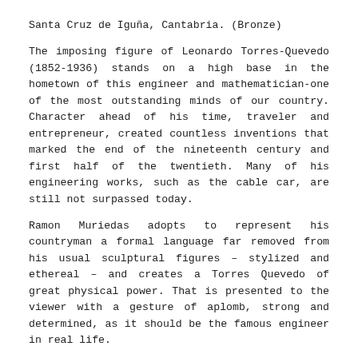Santa Cruz de Iguña, Cantabria. (Bronze)
The imposing figure of Leonardo Torres-Quevedo (1852-1936) stands on a high base in the hometown of this engineer and mathematician-one of the most outstanding minds of our country. Character ahead of his time, traveler and entrepreneur, created countless inventions that marked the end of the nineteenth century and first half of the twentieth. Many of his engineering works, such as the cable car, are still not surpassed today.
Ramon Muriedas adopts to represent his countryman a formal language far removed from his usual sculptural figures – stylized and ethereal – and creates a Torres Quevedo of great physical power. That is presented to the viewer with a gesture of aplomb, strong and determined, as it should be the famous engineer in real life.
His face shows an enormous physical resemblance to the photographs that can be seen of the engineer in his mature age and in him they reflect a kind, firm character, and an intelligent gesture. The sculptor has managed to perfectly